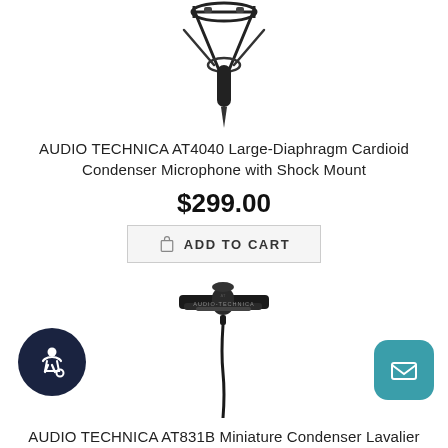[Figure (photo): Top portion of Audio Technica AT4040 condenser microphone with shock mount on white background]
AUDIO TECHNICA AT4040 Large-Diaphragm Cardioid Condenser Microphone with Shock Mount
$299.00
ADD TO CART
[Figure (photo): Audio Technica AT831B miniature condenser lavalier microphone with clip, shown on white background]
AUDIO TECHNICA AT831B Miniature Condenser Lavalier